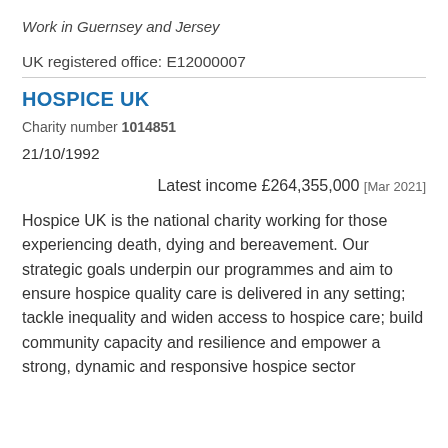Work in Guernsey and Jersey
UK registered office: E12000007
HOSPICE UK
Charity number 1014851
21/10/1992
Latest income £264,355,000 [Mar 2021]
Hospice UK is the national charity working for those experiencing death, dying and bereavement. Our strategic goals underpin our programmes and aim to ensure hospice quality care is delivered in any setting; tackle inequality and widen access to hospice care; build community capacity and resilience and empower a strong, dynamic and responsive hospice sector